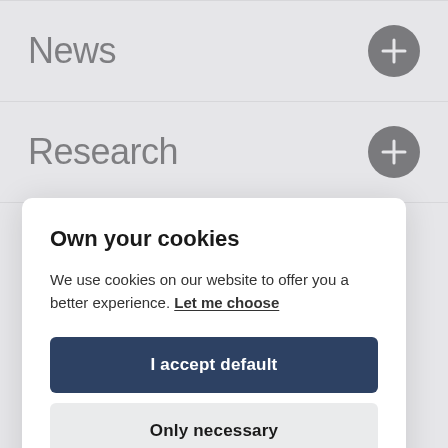News
Research
Own your cookies
We use cookies on our website to offer you a better experience. Let me choose
I accept default
Only necessary